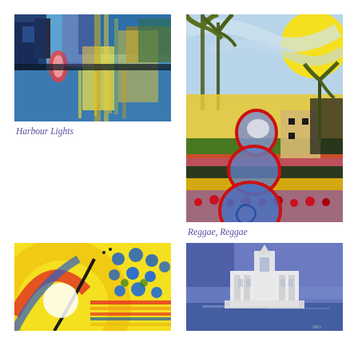[Figure (illustration): Abstract colourful painting of harbour lights at night, buildings and reflections in water with blue, yellow and red tones]
Harbour Lights
[Figure (illustration): Vibrant painting with abstract stacked blue teardrop shapes outlined in red, yellow buildings, palm trees, large yellow sun, blue swirling sky]
Reggae, Reggae
[Figure (illustration): Abstract painting with yellow swirling arcs, blue polka dots and colourful horizontal stripes]
[Figure (illustration): Painting of a white ornate building or cathedral against a purple and blue stormy sky]